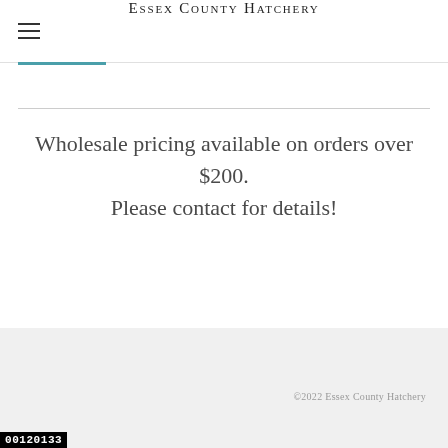Essex County Hatchery
Wholesale pricing available on orders over $200.
Please contact for details!
©2022 Essex County Hatchery